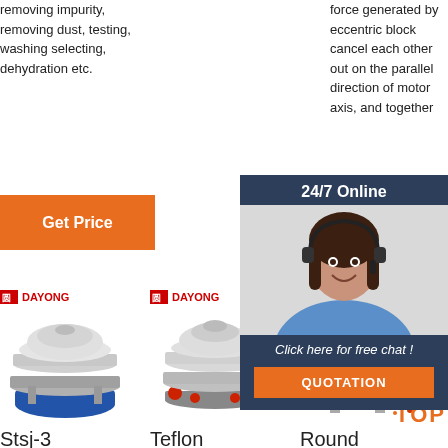removing impurity, removing dust, testing, washing selecting, dehydration etc.
force generated by eccentric block cancel each other out on the parallel direction of motor axis, and together
Get Price
G
[Figure (infographic): 24/7 Online customer service popup with female agent wearing headset, 'Click here for free chat!' text, and QUOTATION orange button]
[Figure (photo): DAYONG brand Stsj-3 round vibrating sieve machine with blue base]
DAYONG
Stsj-3
[Figure (photo): DAYONG brand Teflon round vibrating screen machine with red accent parts]
DAYONG
Teflon
[Figure (photo): DAYONG brand Round vibrating screen machine, partially visible]
DA
Round
TOP